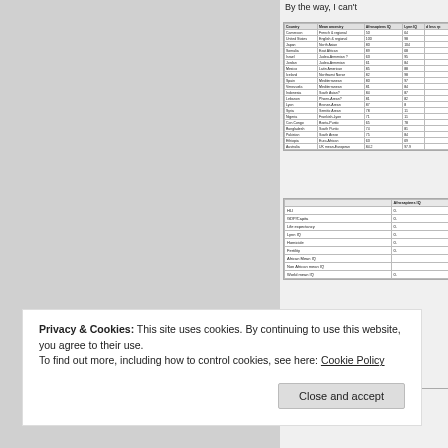By the way, I can't
| Country | Mean ancestry | Afrosapiens IQ | Lynn IQ | d less rp |
| --- | --- | --- | --- | --- |
| Cameroon | French & regional | 50 | 64 |
| United States | English & regional | 100 | 98 |
| Japan | North Asian | 80 | 104 |
| Somalia | East African | 89 | 68 |
| Israel | Judeo-Armenian ? | 63 | 95 |
| Jordan | Judeo-Armenian | 61 | 84 |
| Mexico | Latin American | 85 | 88 |
| Iceland | Northwest Norse | 82 | 98 |
| Spain | Mediterranean | 80 | 97 |
| Venezuela | Mediterranean | 81 | 84 |
| Indonesia | South Asian? | 84 | 87 |
| Lebanon | Phoen-Arean? | 81 | 82 |
| Lyon | Bronze Arean | 87 | 8 |
| Syria | Semitic Arean | 78 | 11 |
| Nigeria | Frankish-Lyon | 71 | 11 |
| Con.Congo | Bantu-Puntic | 65 | 78 |
| Bangladesh | South Puntic | 74 | 81 |
| Pakistan | South Arean | 75 | 84 |
| Ethiopia | Euro-African | 63 | 69 |
| Australia | UK mean-European | 84.2 | 97.9 |
|  | Afrosapiens IQ |
| --- | --- |
| HLI | 0. |
| GDP/Capita | 0. |
| Life expectancy | 0. |
| Lynn IQ | 0. |
| Homicide | 0. |
| Fertility | 0. |
| African Mean IQ |  |
| Non African mean IQ |  |
| World mean IQ | 0. |
Like
Privacy & Cookies: This site uses cookies. By continuing to use this website, you agree to their use.
To find out more, including how to control cookies, see here: Cookie Policy
Close and accept